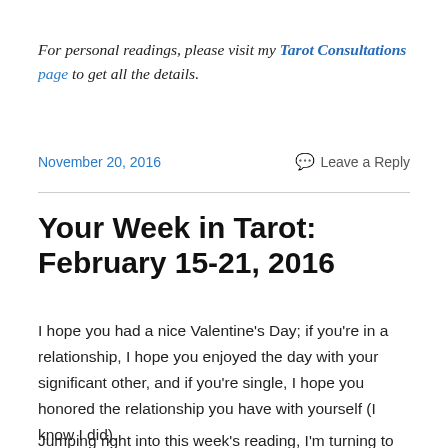For personal readings, please visit my Tarot Consultations page to get all the details.
November 20, 2016   Leave a Reply
Your Week in Tarot: February 15-21, 2016
I hope you had a nice Valentine's Day; if you're in a relationship, I hope you enjoyed the day with your significant other, and if you're single, I hope you honored the relationship you have with yourself (I know I did).
Jumping right into this week's reading, I'm turning to the